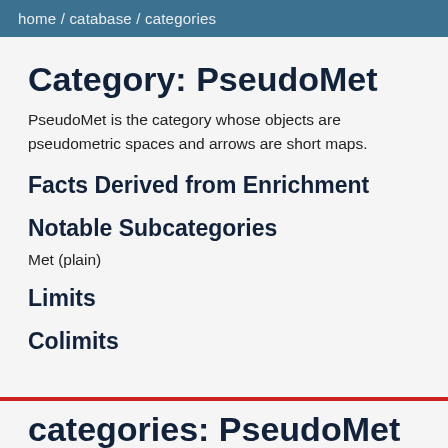home / catabase / categories
Category: PseudoMet
PseudoMet is the category whose objects are pseudometric spaces and arrows are short maps.
Facts Derived from Enrichment
Notable Subcategories
Met (plain)
Limits
Colimits
categories: PseudoMet